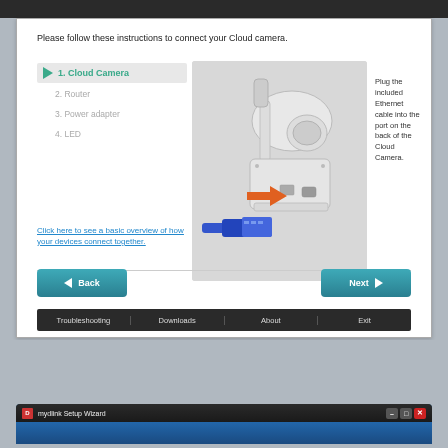Please follow these instructions to connect your Cloud camera.
1. Cloud Camera
2. Router
3. Power adapter
4. LED
Click here to see a basic overview of how your devices connect together.
[Figure (illustration): Diagram showing an Ethernet cable (blue) being plugged into the back of a Cloud camera, with an orange arrow indicating the direction of insertion.]
Plug the included Ethernet cable into the port on the back of the Cloud Camera.
Troubleshooting | Downloads | About | Exit
Copyright © 2013 D-Link Corporation. All rights reserved.
mydlink Setup Wizard